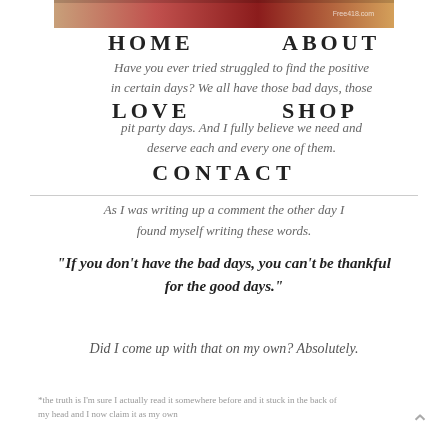[Figure (photo): Decorative header image with warm red/orange tones and a small watermark 'Free418.com' in top right corner]
HOME    ABOUT
Have you ever tried struggled to find the positive in certain days? We all have those bad days, those pit party days. And I fully believe we need and deserve each and every one of them.
LOVE    SHOP
CONTACT
As I was writing up a comment the other day I found myself writing these words.
"If you don't have the bad days, you can't be thankful for the good days."
Did I come up with that on my own? Absolutely.
*the truth is I'm sure I actually read it somewhere before and it stuck in the back of my head and I now claim it as my own